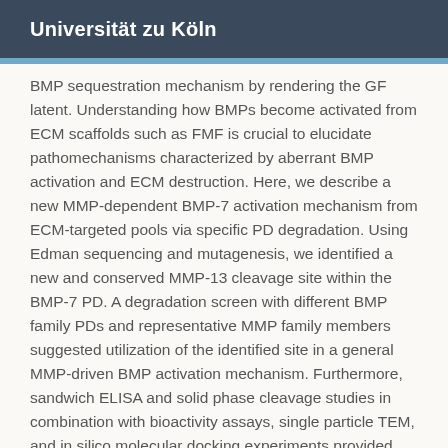Universität zu Köln
BMP sequestration mechanism by rendering the GF latent. Understanding how BMPs become activated from ECM scaffolds such as FMF is crucial to elucidate pathomechanisms characterized by aberrant BMP activation and ECM destruction. Here, we describe a new MMP-dependent BMP-7 activation mechanism from ECM-targeted pools via specific PD degradation. Using Edman sequencing and mutagenesis, we identified a new and conserved MMP-13 cleavage site within the BMP-7 PD. A degradation screen with different BMP family PDs and representative MMP family members suggested utilization of the identified site in a general MMP-driven BMP activation mechanism. Furthermore, sandwich ELISA and solid phase cleavage studies in combination with bioactivity assays, single particle TEM, and in silico molecular docking experiments provided evidence that PD cleavage by MMP-13 leads to BMP-7 GFU...